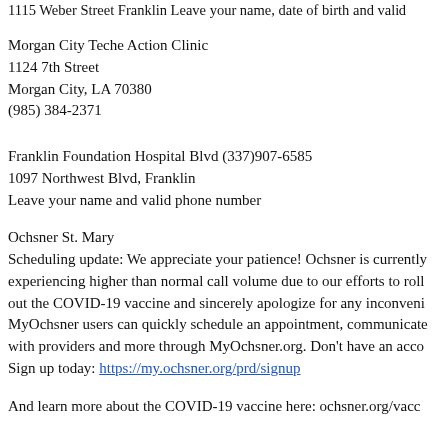1115 Weber Street Franklin Leave your name, date of birth and vali
Morgan City Teche Action Clinic
1124 7th Street
Morgan City, LA 70380
(985) 384-2371
Franklin Foundation Hospital Blvd (337)907-6585
1097 Northwest Blvd, Franklin
Leave your name and valid phone number
Ochsner St. Mary
Scheduling update: We appreciate your patience! Ochsner is currently experiencing higher than normal call volume due to our efforts to roll out the COVID-19 vaccine and sincerely apologize for any inconvenience. MyOchsner users can quickly schedule an appointment, communicate with providers and more through MyOchsner.org. Don't have an account? Sign up today: https://my.ochsner.org/prd/signup
And learn more about the COVID-19 vaccine here: ochsner.org/vac
Walmart Pharmacy#311/Franklin